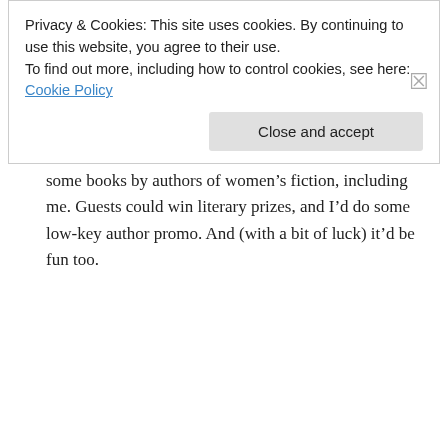event, especially during the pandemic.
2. It would be structured as much like an in-person book launch as possible. IE: greeting guests and introduction, followed by a brief reading from It Doesn’t Have To Be That Way, followed by a bit of Q & A.
3. In the remaining time (20-30 minutes), we’d raffle off some books by authors of women’s fiction, including me. Guests could win literary prizes, and I’d do some low-key author promo. And (with a bit of luck) it’d be fun too.
Privacy & Cookies: This site uses cookies. By continuing to use this website, you agree to their use. To find out more, including how to control cookies, see here: Cookie Policy
Close and accept